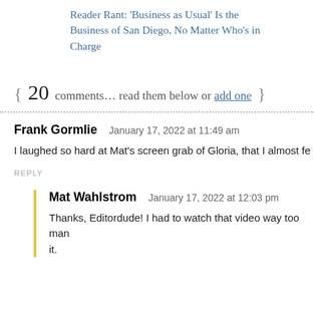Reader Rant: 'Business as Usual' Is the Business of San Diego, No Matter Who's in Charge
{ 20 comments… read them below or add one }
Frank Gormlie   January 17, 2022 at 11:49 am
I laughed so hard at Mat's screen grab of Gloria, that I almost fe
REPLY
Mat Wahlstrom   January 17, 2022 at 12:03 pm
Thanks, Editordude! I had to watch that video way too many times to get it.